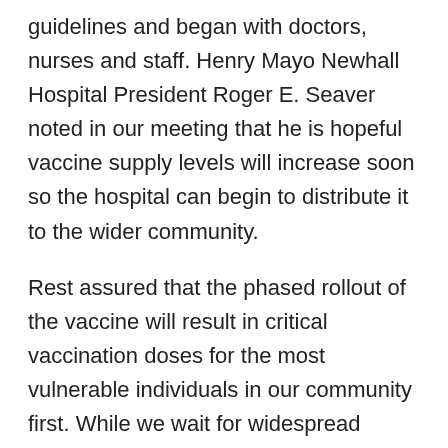guidelines and began with doctors, nurses and staff. Henry Mayo Newhall Hospital President Roger E. Seaver noted in our meeting that he is hopeful vaccine supply levels will increase soon so the hospital can begin to distribute it to the wider community.
Rest assured that the phased rollout of the vaccine will result in critical vaccination doses for the most vulnerable individuals in our community first. While we wait for widespread availability for all residents, we will continue to follow health orders to minimize the risk of spreading the coronavirus.
Lastly, I want to send my thanks to the residents of